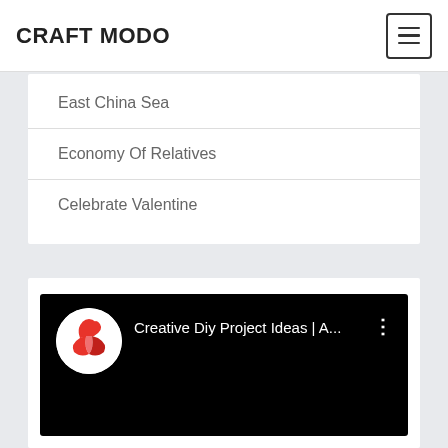CRAFT MODO
East China Sea
Economy Of Relatives
Celebrate Valentine
[Figure (screenshot): YouTube video embed thumbnail showing black background with circular channel avatar (red bird/peacock logo on white circle) and text 'Creative Diy Project Ideas | A...' with three-dot menu icon]